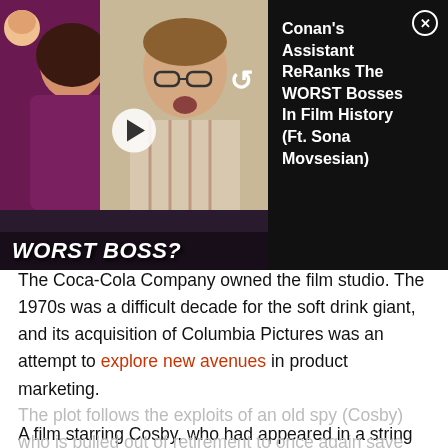[Figure (screenshot): Video overlay banner showing a YouTube-style video preview. Left side shows two people (woman in purple top, man with sticker face), center shows a man in glasses and striped shirt with 'WORST BOSS?' text overlay, right side shows black panel with title 'Conan's Assistant ReRanks The WORST Bosses In Film History (Ft. Sona Movsesian)' and a close (X) button.]
The Coca-Cola Company owned the film studio. The 1970s was a difficult decade for the soft drink giant, and its acquisition of Columbia Pictures was an attempt to explore new avenues in product marketing.
A film starring Cosby, who had appeared in a string of 1980s Coke commercials, should have been the perfect fit for a movie funded by The Coca-Cola Company. If he had just acted in the film and not cowritten and produced this unwatchable mess, it might have just been another bad 1980s movie instead of being widely regarded as one of the worst films ever made.
The plot follows the exploits of an old spy (Cosby) who is pulled out of retirement to once again save the world. Th...